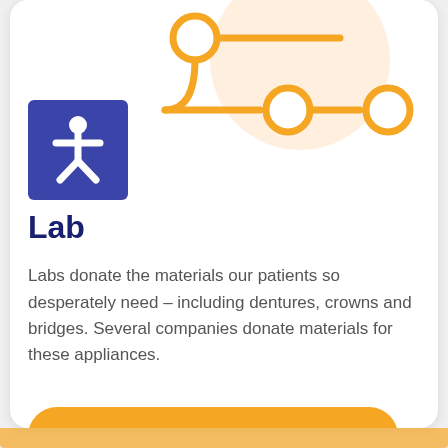[Figure (illustration): Orange network/flow diagram with circles and arrows, and a blue square accessibility icon with white person figure]
Lab
Labs donate the materials our patients so desperately need – including dentures, crowns and bridges. Several companies donate materials for these appliances.
Learn More